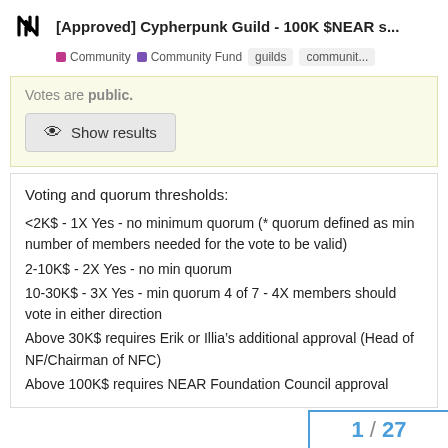[Approved] Cypherpunk Guild - 100K $NEAR s...
Community  Community Fund  guilds  communit...
Votes are public.
Show results
Voting and quorum thresholds:
<2K$ - 1X Yes - no minimum quorum (* quorum defined as min number of members needed for the vote to be valid)
2-10K$ - 2X Yes - no min quorum
10-30K$ - 3X Yes - min quorum 4 of 7 - 4X members should vote in either direction
Above 30K$ requires Erik or Illia’s additional approval (Head of NF/Chairman of NFC)
Above 100K$ requires NEAR Foundation Council approval
1 / 27